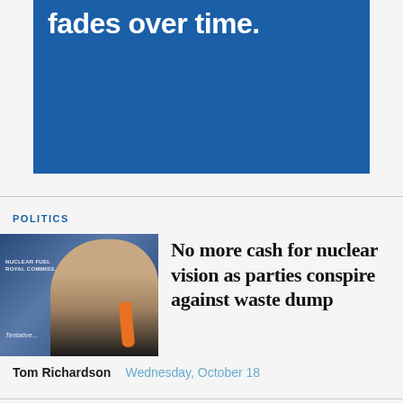[Figure (illustration): Blue advertisement banner with white bold text reading 'fades over time.' - partial text visible, top portion of ad]
POLITICS
[Figure (photo): Man in dark suit with orange tie, standing sideways in profile against blue background with text 'Nuclear Fuel Royal Commission' and 'Tentative' visible]
No more cash for nuclear vision as parties conspire against waste dump
Tom Richardson   Wednesday, October 18